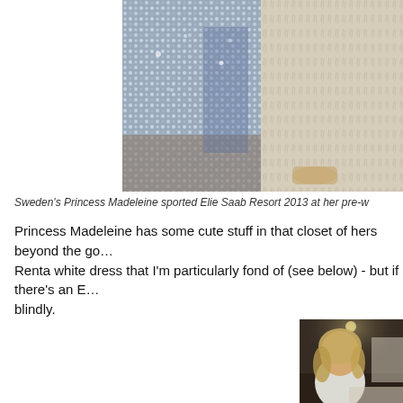[Figure (photo): Two fashion/runway photos side by side: left shows a silver sequined gown hemline, right shows a fluffy/fur textured garment]
Sweden's Princess Madeleine sported Elie Saab Resort 2013 at her pre-w
Princess Madeleine has some cute stuff in that closet of hers beyond the go… Renta white dress that I'm particularly fond of (see below) - but if there's an E… blindly.
[Figure (photo): Young blonde woman wearing a white ruffled/embellished sleeveless top with black bag in a restaurant setting]